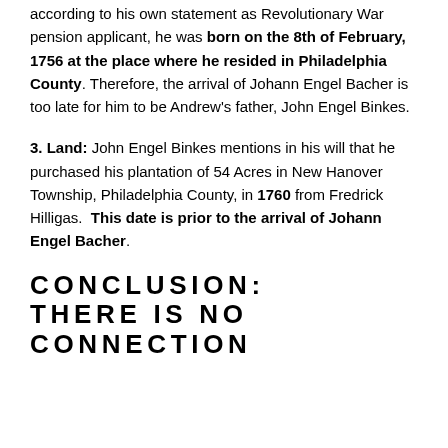according to his own statement as Revolutionary War pension applicant, he was born on the 8th of February, 1756 at the place where he resided in Philadelphia County. Therefore, the arrival of Johann Engel Bacher is too late for him to be Andrew's father, John Engel Binkes.
3. Land: John Engel Binkes mentions in his will that he purchased his plantation of 54 Acres in New Hanover Township, Philadelphia County, in 1760 from Fredrick Hilligas. This date is prior to the arrival of Johann Engel Bacher.
CONCLUSION: THERE IS NO CONNECTION